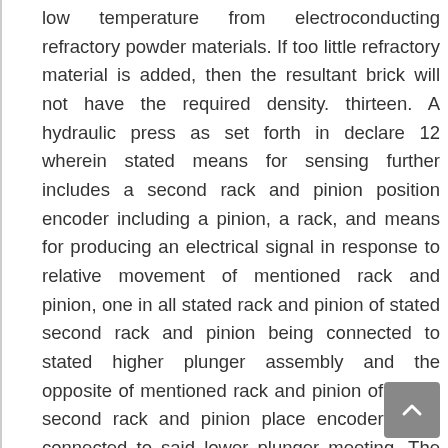low temperature from electroconducting refractory powder materials. If too little refractory material is added, then the resultant brick will not have the required density. thirteen. A hydraulic press as set forth in declare 12 wherein stated means for sensing further includes a second rack and pinion position encoder including a pinion, a rack, and means for producing an electrical signal in response to relative movement of mentioned rack and pinion, one in all stated rack and pinion of stated second rack and pinion being connected to stated higher plunger assembly and the opposite of mentioned rack and pinion of stated second rack and pinion place encoder being connected to said lower plunger meeting. The oxides of aluminium ( alumina ), silicon ( silica ) and magnesium ( magnesia ) are an important materials used in the manufacturing of refractories. Subsequently, the main ram forty five can power the upper crosshead 42 downwardly until the second place encoder indicates that the lower plunger